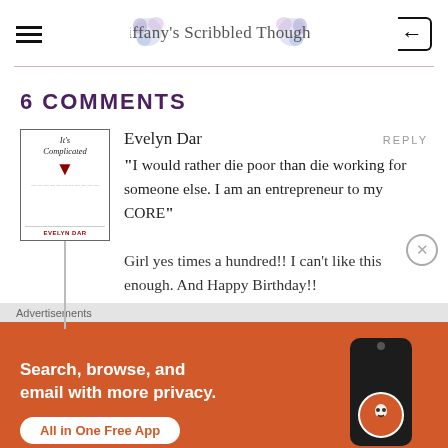Tiffany's Scribbled Thoughts
6 COMMENTS
Evelyn Dar
"I would rather die poor than die working for someone else. I am an entrepreneur to my CORE"
Girl yes times a hundred!! I can't like this enough. And Happy Birthday!!
[Figure (other): Book cover thumbnail for 'It's Complicated' by Evelyn Dar]
Advertisements
[Figure (other): DuckDuckGo advertisement banner: Search, browse, and email with more privacy. All in One Free App. Shows a phone with DuckDuckGo logo.]